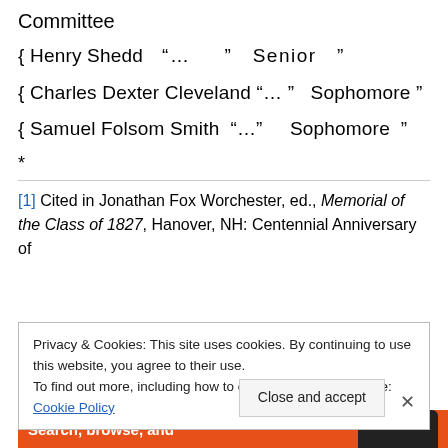Committee
{ Henry Shedd “… ” Senior ”
{ Charles Dexter Cleveland “… ” Sophomore ”
{ Samuel Folsom Smith “…” Sophomore ”
*
[1] Cited in Jonathan Fox Worchester, ed., Memorial of the Class of 1827, Hanover, NH: Centennial Anniversary of
Privacy & Cookies: This site uses cookies. By continuing to use this website, you agree to their use. To find out more, including how to control cookies, see here: Cookie Policy